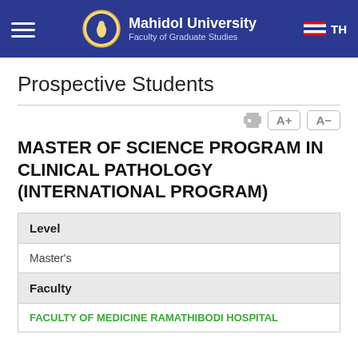Mahidol University Faculty of Graduate Studies
Prospective Students
MASTER OF SCIENCE PROGRAM IN CLINICAL PATHOLOGY (INTERNATIONAL PROGRAM)
| Level |  |
| --- | --- |
| Master's |  |
| Faculty |  |
| FACULTY OF MEDICINE RAMATHIBODI HOSPITAL |  |